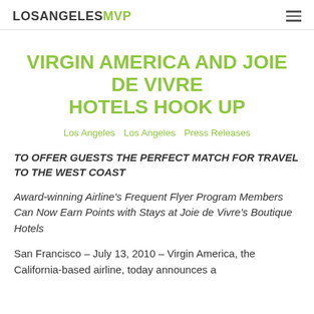LOSANGELESMVP
VIRGIN AMERICA AND JOIE DE VIVRE HOTELS HOOK UP
Los Angeles  Los Angeles  Press Releases
TO OFFER GUESTS THE PERFECT MATCH FOR TRAVEL TO THE WEST COAST
Award-winning Airline's Frequent Flyer Program Members Can Now Earn Points with Stays at Joie de Vivre's Boutique Hotels
San Francisco – July 13, 2010 – Virgin America, the California-based airline, today announces a